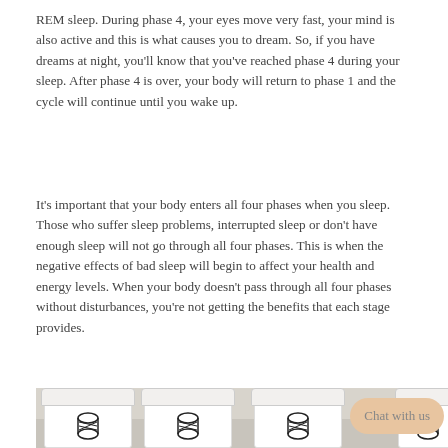REM sleep. During phase 4, your eyes move very fast, your mind is also active and this is what causes you to dream. So, if you have dreams at night, you'll know that you've reached phase 4 during your sleep. After phase 4 is over, your body will return to phase 1 and the cycle will continue until you wake up.
It's important that your body enters all four phases when you sleep. Those who suffer sleep problems, interrupted sleep or don't have enough sleep will not go through all four phases. This is when the negative effects of bad sleep will begin to affect your health and energy levels. When your body doesn't pass through all four phases without disturbances, you're not getting the benefits that each stage provides.
[Figure (photo): Photo of three white supplement/vitamin containers with DNA helix logo icons on the labels, sitting on a shelf against a grey wall. A rounded rectangle Chat with us button appears in the upper right area of the photo.]